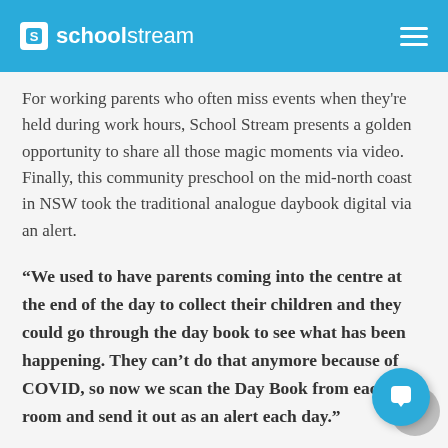schoolstream
For working parents who often miss events when they're held during work hours, School Stream presents a golden opportunity to share all those magic moments via video. Finally, this community preschool on the mid-north coast in NSW took the traditional analogue daybook digital via an alert.
“We used to have parents coming into the centre at the end of the day to collect their children and they could go through the day book to see what has been happening. They can’t do that anymore because of COVID, so now we scan the Day Book from each room and send it out as an alert each day.”